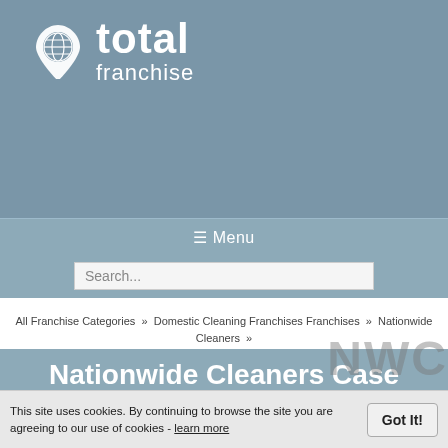[Figure (logo): Total Franchise logo with globe icon, white text on blue-grey background]
☰ Menu
Search...
All Franchise Categories » Domestic Cleaning Franchises Franchises » Nationwide Cleaners » Casestudies
Nationwide Cleaners Case Study
Michael runs his Nationwide Cleaners business in London.
[Figure (photo): Black background promotional image with white bold text: Nationwide Cleaners TM / Money Back Guarantee*]
This site uses cookies. By continuing to browse the site you are agreeing to our use of cookies - learn more